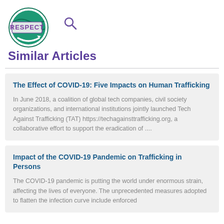[Figure (logo): RESPECT logo: circular green and teal globe design with 'RESPECT' stamp text overlaid in purple/violet]
Similar Articles
The Effect of COVID-19: Five Impacts on Human Trafficking
In June 2018, a coalition of global tech companies, civil society organizations, and international institutions jointly launched Tech Against Trafficking (TAT) https://techagainsttrafficking.org, a collaborative effort to support the eradication of ....
Impact of the COVID-19 Pandemic on Trafficking in Persons
The COVID-19 pandemic is putting the world under enormous strain, affecting the lives of everyone. The unprecedented measures adopted to flatten the infection curve include enforced